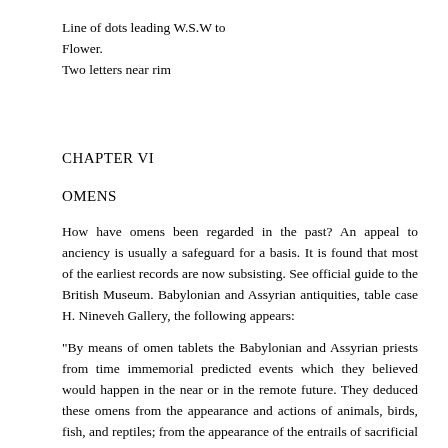Line of dots leading W.S.W to
Flower.
Two letters near rim
CHAPTER VI
OMENS
How have omens been regarded in the past? An appeal to anciency is usually a safeguard for a basis. It is found that most of the earliest records are now subsisting. See official guide to the British Museum. Babylonian and Assyrian antiquities, table case H. Nineveh Gallery, the following appears:
"By means of omen tablets the Babylonian and Assyrian priests from time immemorial predicted events which they believed would happen in the near or in the remote future. They deduced these omens from the appearance and actions of animals, birds, fish, and reptiles; from the appearance of the entrails of sacrificial victims; from the appearance and condition